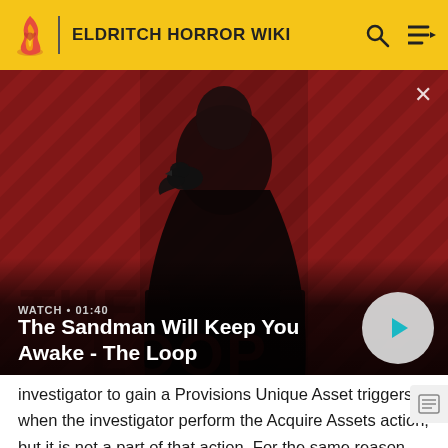ELDRITCH HORROR WIKI
[Figure (screenshot): Video thumbnail showing a dark figure with a raven on shoulder against red and black diagonal striped background. Title: 'The Sandman Will Keep You Awake - The Loop', duration: 01:40]
investigator to gain a Provisions Unique Asset triggers when the investigator perform the Acquire Assets action, but it is not a part of that action. For the same reason, Charlie cannot spend two successes during an Acquire Assets action to move another investigator to Miskatonic Outpost